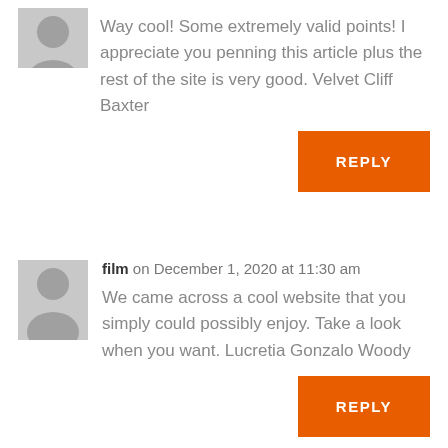[Figure (illustration): Gray default user avatar icon (top, partially cropped)]
Way cool! Some extremely valid points! I appreciate you penning this article plus the rest of the site is very good. Velvet Cliff Baxter
REPLY
[Figure (illustration): Gray default user avatar icon]
film on December 1, 2020 at 11:30 am
We came across a cool website that you simply could possibly enjoy. Take a look when you want. Lucretia Gonzalo Woody
REPLY